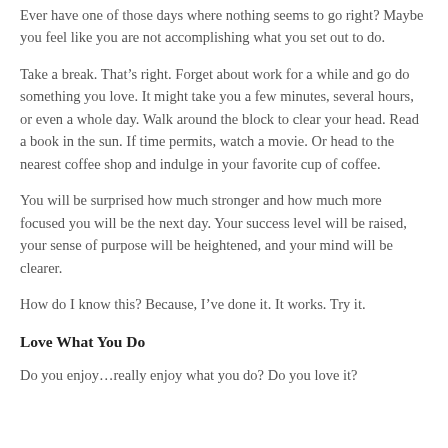Ever have one of those days where nothing seems to go right? Maybe you feel like you are not accomplishing what you set out to do.
Take a break. That’s right. Forget about work for a while and go do something you love. It might take you a few minutes, several hours, or even a whole day. Walk around the block to clear your head. Read a book in the sun. If time permits, watch a movie. Or head to the nearest coffee shop and indulge in your favorite cup of coffee.
You will be surprised how much stronger and how much more focused you will be the next day. Your success level will be raised, your sense of purpose will be heightened, and your mind will be clearer.
How do I know this? Because, I’ve done it. It works. Try it.
Love What You Do
Do you enjoy…really enjoy what you do? Do you love it?